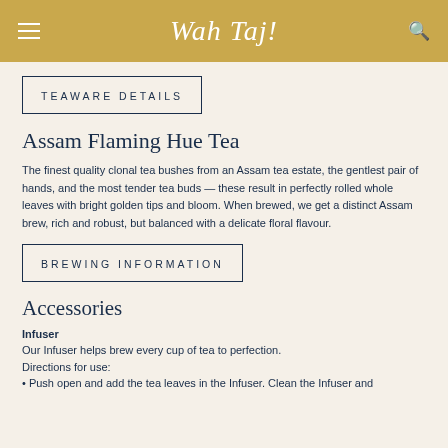Wah Taj!
TEAWARE DETAILS
Assam Flaming Hue Tea
The finest quality clonal tea bushes from an Assam tea estate, the gentlest pair of hands, and the most tender tea buds — these result in perfectly rolled whole leaves with bright golden tips and bloom. When brewed, we get a distinct Assam brew, rich and robust, but balanced with a delicate floral flavour.
BREWING INFORMATION
Accessories
Infuser
Our Infuser helps brew every cup of tea to perfection.
Directions for use:
Push open and add the tea leaves in the Infuser. Clean the Infuser and